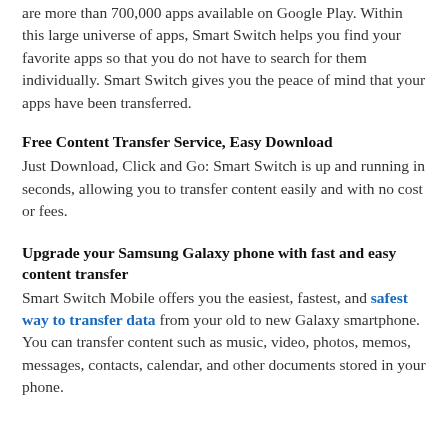are more than 700,000 apps available on Google Play. Within this large universe of apps, Smart Switch helps you find your favorite apps so that you do not have to search for them individually. Smart Switch gives you the peace of mind that your apps have been transferred.
Free Content Transfer Service, Easy Download
Just Download, Click and Go: Smart Switch is up and running in seconds, allowing you to transfer content easily and with no cost or fees.
Upgrade your Samsung Galaxy phone with fast and easy content transfer
Smart Switch Mobile offers you the easiest, fastest, and safest way to transfer data from your old to new Galaxy smartphone. You can transfer content such as music, video, photos, memos, messages, contacts, calendar, and other documents stored in your phone.